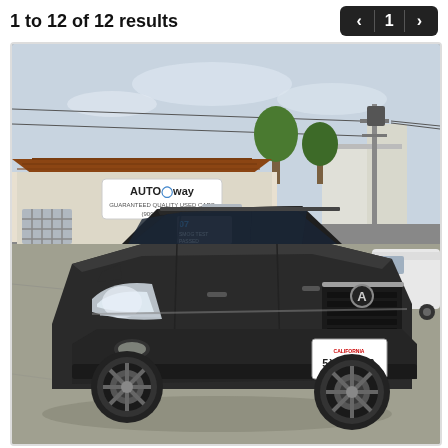1 to 12 of 12 results
[Figure (photo): Photo of a black Acura RDX SUV parked in front of an auto dealership building. The vehicle has a windshield sticker showing '07' and dealer information. License plate reads 5YVY466. A utility pole and another white truck are visible in the background.]